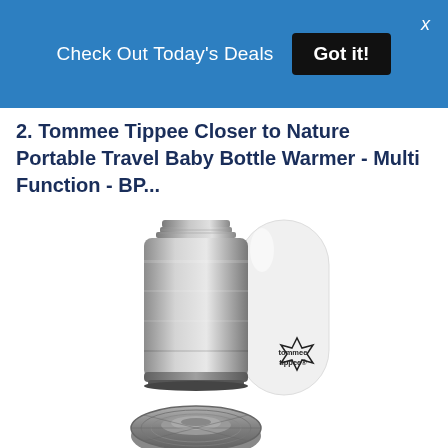Check Out Today's Deals  Got it!
2. Tommee Tippee Closer to Nature Portable Travel Baby Bottle Warmer - Multi Function -  BP...
[Figure (photo): Product photo of Tommee Tippee Closer to Nature Portable Travel Baby Bottle Warmer showing a stainless steel thermos flask next to a white cylindrical bottle warmer case with the tommee tippee logo, and a grey cap/lid in the foreground.]